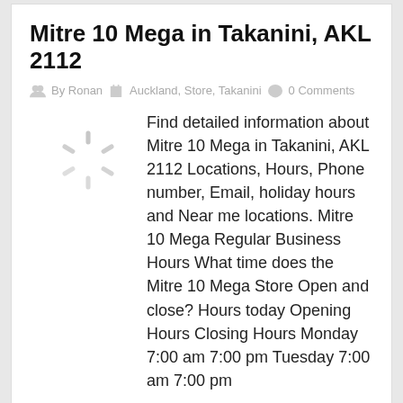Mitre 10 Mega in Takanini, AKL 2112
By Ronan   Auckland, Store, Takanini   0 Comments
[Figure (illustration): Loading spinner / ajax loader icon]
Find detailed information about Mitre 10 Mega in Takanini, AKL 2112 Locations, Hours, Phone number, Email, holiday hours and Near me locations. Mitre 10 Mega Regular Business Hours What time does the Mitre 10 Mega Store Open and close? Hours today Opening Hours Closing Hours Monday 7:00 am 7:00 pm Tuesday 7:00 am 7:00 pm
Read More
July 25, 2019